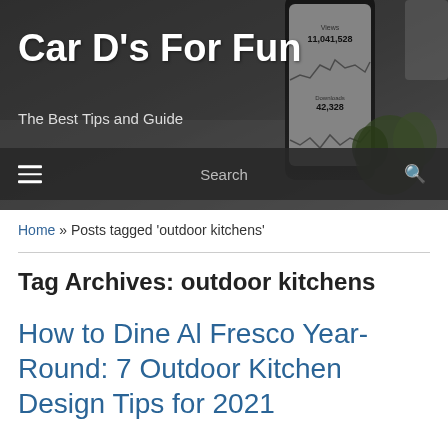[Figure (photo): Dark banner background image showing a smartphone with analytics/stats screen, a succulent plant, and another device, with dark overlay]
Car D's For Fun
The Best Tips and Guide
☰  Search  🔍
Home » Posts tagged 'outdoor kitchens'
Tag Archives: outdoor kitchens
How to Dine Al Fresco Year-Round: 7 Outdoor Kitchen Design Tips for 2021